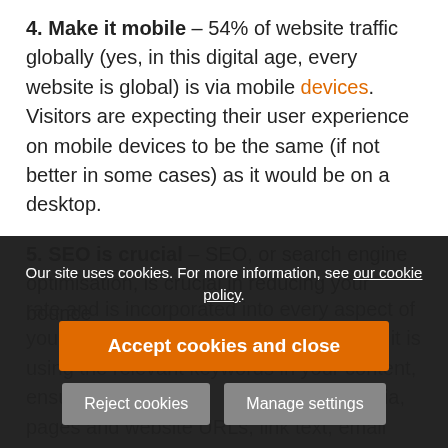4. Make it mobile – 54% of website traffic globally (yes, in this digital age, every website is global) is via mobile devices. Visitors are expecting their user experience on mobile devices to be the same (if not better in some cases) as it would be on a desktop.
5. SEO is crucial – SEO, or search engine optimisation, is crucial in reducing your bounce rate and is incorporated into every aspect of your landing pages and whether it is using the relevant keywords in your content, ensuring all meta tags are filled in including social media, pages and website URLs, link text, email campaigns and online advertising is optimised for use.
Our site uses cookies. For more information, see our cookie policy.
Accept cookies and close
Reject cookies
Manage settings